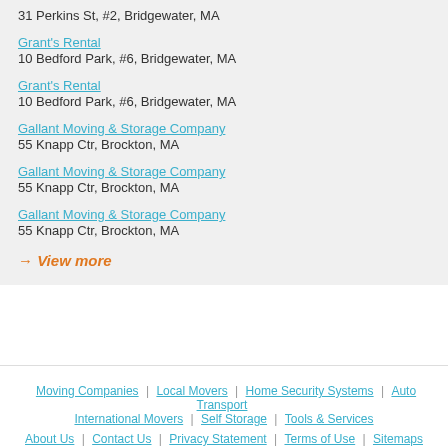31 Perkins St, #2, Bridgewater, MA
Grant's Rental
10 Bedford Park, #6, Bridgewater, MA
Grant's Rental
10 Bedford Park, #6, Bridgewater, MA
Gallant Moving & Storage Company
55 Knapp Ctr, Brockton, MA
Gallant Moving & Storage Company
55 Knapp Ctr, Brockton, MA
Gallant Moving & Storage Company
55 Knapp Ctr, Brockton, MA
→ View more
Moving Companies | Local Movers | Home Security Systems | Auto Transport | International Movers | Self Storage | Tools & Services
About Us | Contact Us | Privacy Statement | Terms of Use | Sitemaps
Copyright © 2022 Moving Ideas, All Rights Reserved | Top Moving Companies, Movers and Moving Services